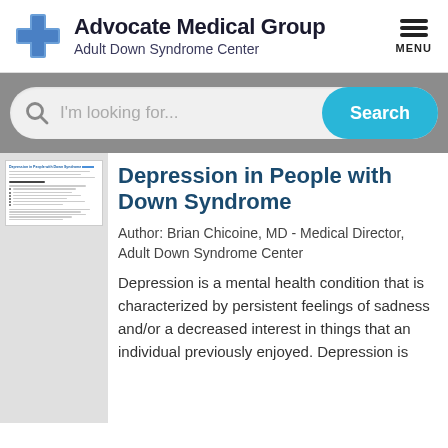[Figure (logo): Advocate Medical Group logo with blue cross icon and text 'Advocate Medical Group / Adult Down Syndrome Center']
[Figure (screenshot): Search bar with placeholder 'I'm looking for...' and a teal 'Search' button, on a gray background band]
[Figure (screenshot): Thumbnail preview of the article page on the left side]
Depression in People with Down Syndrome
Author: Brian Chicoine, MD - Medical Director, Adult Down Syndrome Center
Depression is a mental health condition that is characterized by persistent feelings of sadness and/or a decreased interest in things that an individual previously enjoyed. Depression is